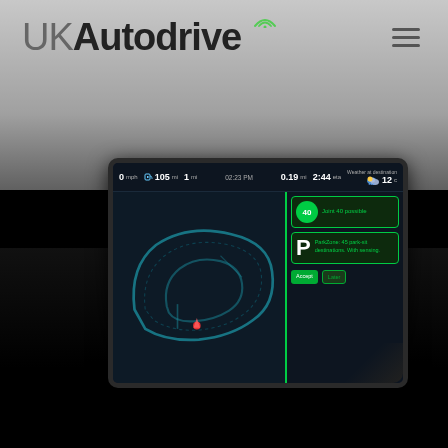[Figure (screenshot): UKAutodrive website header with logo and hamburger menu, showing a car dashboard tablet screen with autonomous driving HMI interface. The screen shows speed (0 mph), fuel (105 mi), distance (1 mi), time (0.19 mi, 2:44 eta), weather (12°C), a track map on the left, and green notification panels on the right showing speed limit (40) and parking zone information.]